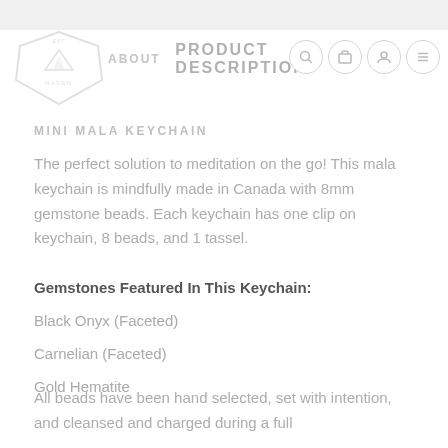PRODUCT DESCRIPTION
MINI MALA KEYCHAIN
The perfect solution to meditation on the go! This mala keychain is mindfully made in Canada with 8mm gemstone beads. Each keychain has one clip on keychain, 8 beads, and 1 tassel.
Gemstones Featured In This Keychain:
Black Onyx (Faceted)
Carnelian (Faceted)
Gold Hematite
All beads have been hand selected, set with intention, and cleansed and charged during a full